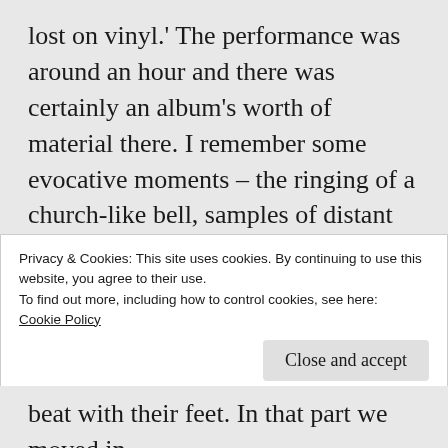lost on vinyl.' The performance was around an hour and there was certainly an album's worth of material there. I remember some evocative moments – the ringing of a church-like bell, samples of distant chanting, spoken word in a language so strange that the recording may well have been reversed, the sound of cicadas... Most of the music was beat-less – including one of the shorter ambient instrumentals from Gone to Earth, quite possibly 'The Wooden Cross' – which
Privacy & Cookies: This site uses cookies. By continuing to use this website, you agree to their use.
To find out more, including how to control cookies, see here:
Cookie Policy
Close and accept
beat with their feet. In that part we moved in